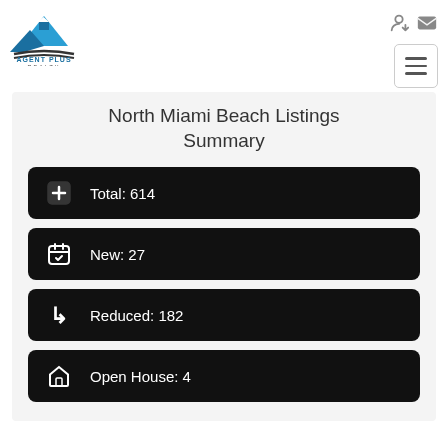[Figure (logo): Agent Plus Realty logo with blue mountain/house graphic and text]
North Miami Beach Listings Summary
Total: 614
New: 27
Reduced: 182
Open House: 4